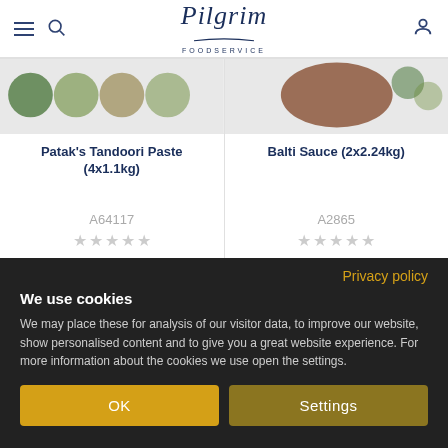Pilgrim Foodservice
[Figure (screenshot): Product card: Patak's Tandoori Paste (4x1.1kg) with product image at top, product code A64117, and 5-star rating (empty stars)]
[Figure (screenshot): Product card: Balti Sauce (2x2.24kg) with product image at top, product code A2865, and 5-star rating (empty stars)]
Privacy policy
We use cookies
We may place these for analysis of our visitor data, to improve our website, show personalised content and to give you a great website experience. For more information about the cookies we use open the settings.
OK
Settings